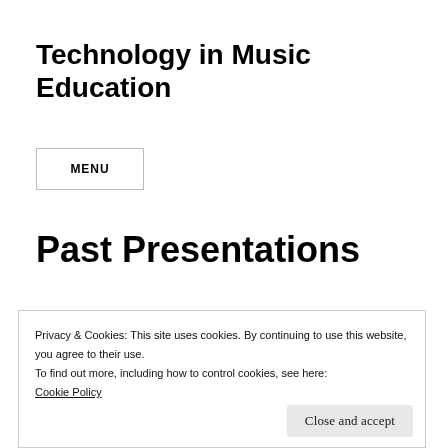Technology in Music Education
MENU
Past Presentations
Privacy & Cookies: This site uses cookies. By continuing to use this website, you agree to their use.
To find out more, including how to control cookies, see here: Cookie Policy
Close and accept